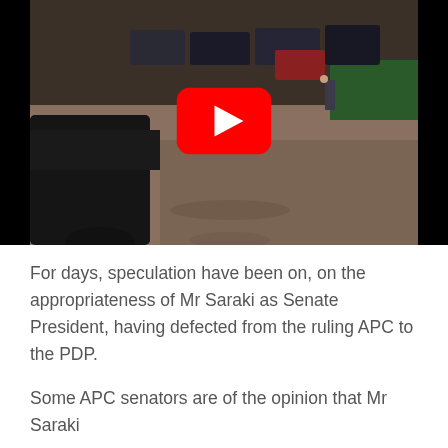[Figure (screenshot): YouTube video thumbnail showing a street scene with cars and people, with a red YouTube play button overlay in the center]
For days, speculation have been on, on the appropriateness of Mr Saraki as Senate President, having defected from the ruling APC to the PDP.
Some APC senators are of the opinion that Mr Saraki